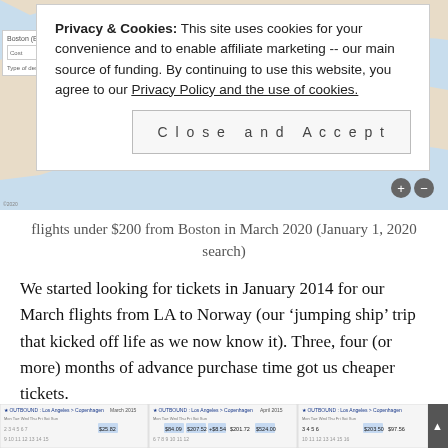[Figure (screenshot): A map screenshot showing flight destinations with a cookie consent banner overlay. The map shows geographic regions in blue/teal. A cookie banner with white background overlays the top portion. Search filters visible on left side.]
Privacy & Cookies: This site uses cookies for your convenience and to enable affiliate marketing -- our main source of funding. By continuing to use this website, you agree to our Privacy Policy and the use of cookies.
Close and Accept
flights under $200 from Boston in March 2020 (January 1, 2020 search)
We started looking for tickets in January 2014 for our March flights from LA to Norway (our ‘jumping ship’ trip that kicked off life as we now know it). Three, four (or more) months of advance purchase time got us cheaper tickets.
[Figure (screenshot): Bottom strip of a flight search calendar showing outbound routes from Los Angeles to Copenhagen for March and April 2015, with price cells highlighted.]